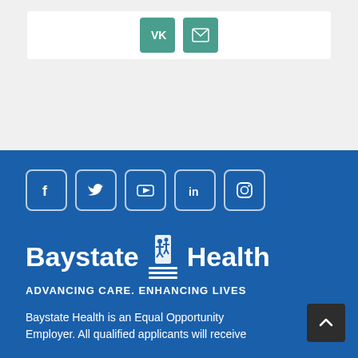[Figure (logo): Social share buttons: VK and email icons on teal/green rounded square buttons inside a white card on a light gray background]
[Figure (logo): Social media icons row: Facebook, Twitter, YouTube, LinkedIn, Instagram — white icons in rounded square outlines on blue background]
[Figure (logo): Baystate Health logo with person/family icon and horizontal lines, white on blue background]
ADVANCING CARE. ENHANCING LIVES
Baystate Health is an Equal Opportunity Employer. All qualified applicants will receive